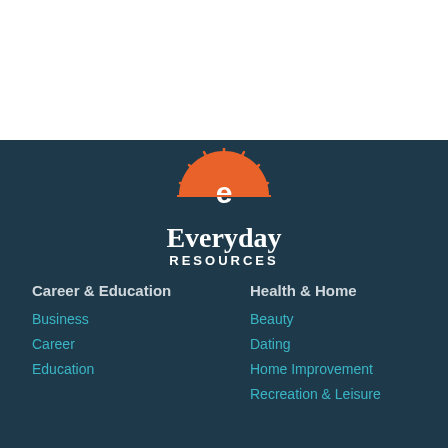[Figure (logo): Everyday Resources logo: orange semicircle with sun rays and lowercase 'e', with text 'Everyday RESOURCES' in white below]
Career & Education
Business
Career
Education
Health & Home
Beauty
Dating
Home Improvement
Recreation & Leisure